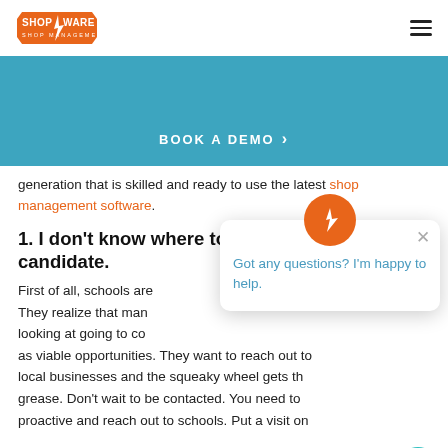Shop-Ware [logo] [hamburger menu]
[Figure (other): Blue banner with BOOK A DEMO button and right-arrow]
generation that is skilled and ready to use the latest shop management software.
1. I don't know where to find a candidate.
First of all, schools are... They realize that many... looking at going to col... as viable opportunities. They want to reach out to local businesses and the squeaky wheel gets th... grease. Don't wait to be contacted. You need to... proactive and reach out to schools. Put a visit on
[Figure (other): Chat popup overlay with Shop-Ware icon and message: Got any questions? I'm happy to help.]